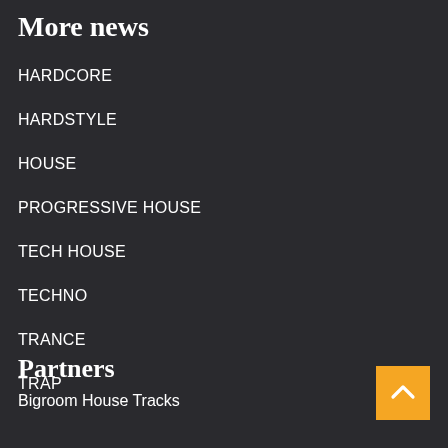More news
HARDCORE
HARDSTYLE
HOUSE
PROGRESSIVE HOUSE
TECH HOUSE
TECHNO
TRANCE
TRAP
Partners
Bigroom House Tracks